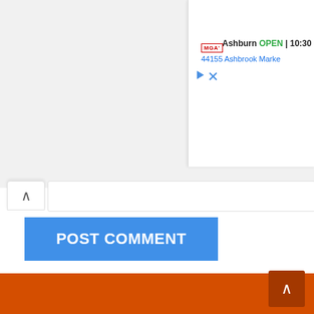[Figure (screenshot): Partial webpage screenshot showing an advertisement panel on the right with MCA logo, Ashburn store info showing OPEN 10:30 and address 44155 Ashbrook Marke..., play and close icons. On the left side there is a collapse/chevron up button and a text input area for comments.]
POST COMMENT
[Figure (screenshot): Orange footer section of a webpage with a dark brown scroll-to-top button featuring an upward chevron arrow in the bottom right corner.]